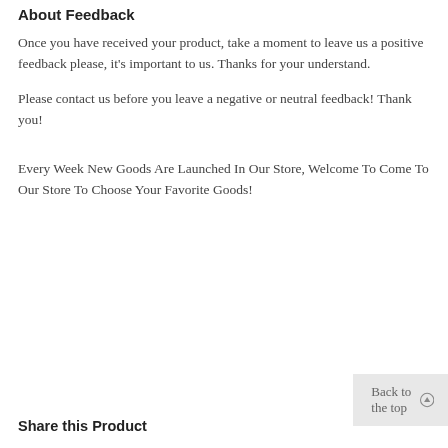About Feedback
Once you have received your product, take a moment to leave us a positive feedback please, it's important to us. Thanks for your understand.
Please contact us before you leave a negative or neutral feedback! Thank you!
Every Week New Goods Are Launched In Our Store, Welcome To Come To Our Store To Choose Your Favorite Goods!
Back to the top
Share this Product